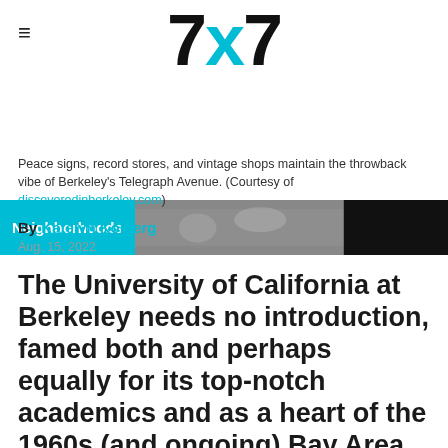7x7
[Figure (photo): Header image with Neighborhoods badge overlaid on a photo strip showing street scene, partially dark on right side]
Peace signs, record stores, and vintage shops maintain the throwback vibe of Berkeley's Telegraph Avenue. (Courtesy of discoveredinberkeley.com)
By Katelyn Kolberg
Aug. 15, 2022
The University of California at Berkeley needs no introduction, famed both and perhaps equally for its top-notch academics and as a heart of the 1960s (and ongoing) Bay Area cultural revolution.
Telegraph Avenue, the main artery that leads right up to the entrance of campus, is a hub for colorful street vendors, international eateries, and indie shops, and